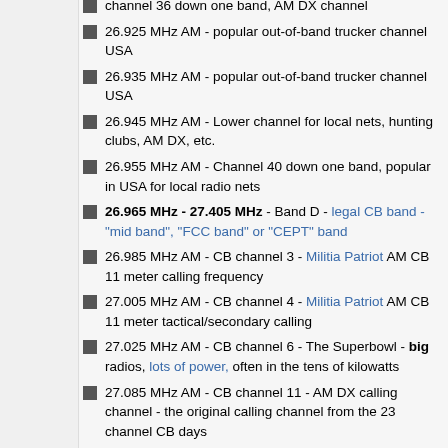channel 36 down one band, AM DX channel
26.925 MHz AM - popular out-of-band trucker channel USA
26.935 MHz AM - popular out-of-band trucker channel USA
26.945 MHz AM - Lower channel for local nets, hunting clubs, AM DX, etc.
26.955 MHz AM - Channel 40 down one band, popular in USA for local radio nets
26.965 MHz - 27.405 MHz - Band D - legal CB band - "mid band", "FCC band" or "CEPT" band
26.985 MHz AM - CB channel 3 - Militia Patriot AM CB 11 meter calling frequency
27.005 MHz AM - CB channel 4 - Militia Patriot AM CB 11 meter tactical/secondary calling
27.025 MHz AM - CB channel 6 - The Superbowl - big radios, lots of power, often in the tens of kilowatts
27.085 MHz AM - CB channel 11 - AM DX calling channel - the original calling channel from the 23 channel CB days